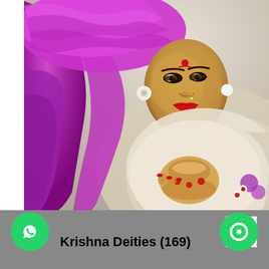[Figure (photo): A close-up photograph of a Krishna deity figurine/idol wearing a vibrant purple/magenta cloth or sari draped over the head and body, with a golden face featuring painted eyes, red lips, and ornate jewelry including pearl necklaces and gold ornaments. The deity holds a pot or kalash. Background is muted beige/gray tones.]
Krishna Deities (169)